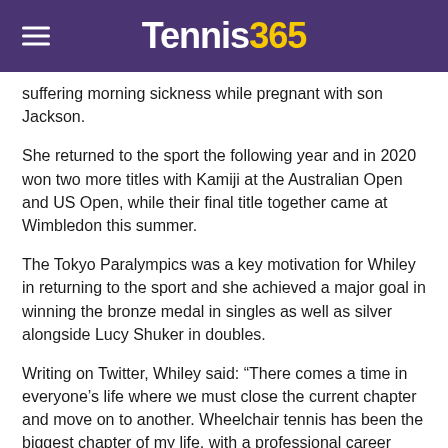Tennis365
suffering morning sickness while pregnant with son Jackson.
She returned to the sport the following year and in 2020 won two more titles with Kamiji at the Australian Open and US Open, while their final title together came at Wimbledon this summer.
The Tokyo Paralympics was a key motivation for Whiley in returning to the sport and she achieved a major goal in winning the bronze medal in singles as well as silver alongside Lucy Shuker in doubles.
Writing on Twitter, Whiley said: “There comes a time in everyone’s life where we must close the current chapter and move on to another. Wheelchair tennis has been the biggest chapter of my life, with a professional career spanning 16 years.
[Figure (screenshot): Embedded tweet card from @Wimbledon with Wimbledon logo, verified badge, and Follow link, with Twitter bird icon on the right and a reply avatar at the bottom.]